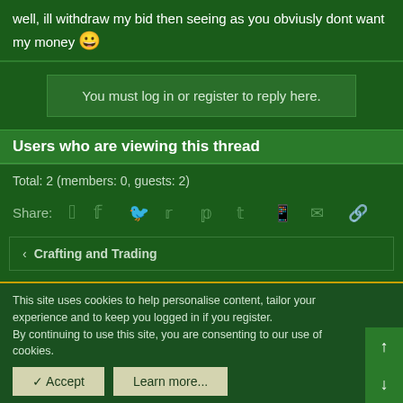well, ill withdraw my bid then seeing as you obviusly dont want my money 😀
You must log in or register to reply here.
Users who are viewing this thread
Total: 2 (members: 0, guests: 2)
Share:
< Crafting and Trading
This site uses cookies to help personalise content, tailor your experience and to keep you logged in if you register.
By continuing to use this site, you are consenting to our use of cookies.